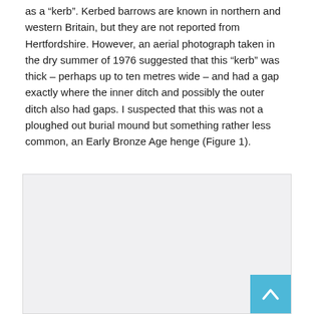as a “kerb”. Kerbed barrows are known in northern and western Britain, but they are not reported from Hertfordshire. However, an aerial photograph taken in the dry summer of 1976 suggested that this “kerb” was thick – perhaps up to ten metres wide – and had a gap exactly where the inner ditch and possibly the outer ditch also had gaps. I suspected that this was not a ploughed out burial mound but something rather less common, an Early Bronze Age henge (Figure 1).
[Figure (other): A light grey placeholder box representing Figure 1, an image of the Early Bronze Age henge site.]